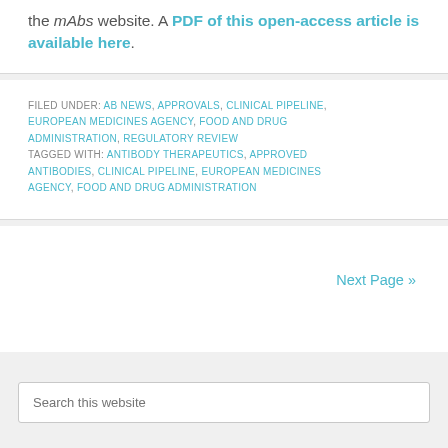the mAbs website. A PDF of this open-access article is available here.
FILED UNDER: AB NEWS, APPROVALS, CLINICAL PIPELINE, EUROPEAN MEDICINES AGENCY, FOOD AND DRUG ADMINISTRATION, REGULATORY REVIEW TAGGED WITH: ANTIBODY THERAPEUTICS, APPROVED ANTIBODIES, CLINICAL PIPELINE, EUROPEAN MEDICINES AGENCY, FOOD AND DRUG ADMINISTRATION
Next Page »
Search this website